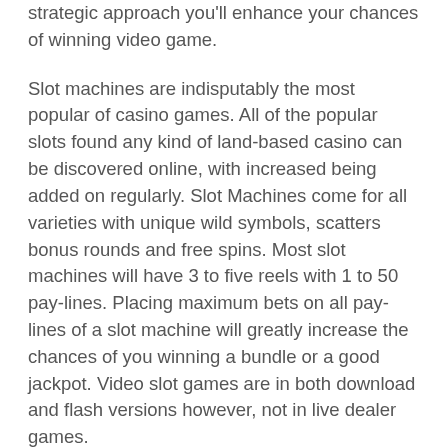strategic approach you'll enhance your chances of winning video game.
Slot machines are indisputably the most popular of casino games. All of the popular slots found any kind of land-based casino can be discovered online, with increased being added on regularly. Slot Machines come for all varieties with unique wild symbols, scatters bonus rounds and free spins. Most slot machines will have 3 to five reels with 1 to 50 pay-lines. Placing maximum bets on all pay-lines of a slot machine will greatly increase the chances of you winning a bundle or a good jackpot. Video slot games are in both download and flash versions however, not in live dealer games.
Slot tournaments can either require a fee or “buy in” or be regarded as a freeroll tournament. Freeroll is casino jargon to secure a free finals. Free slot tournaments are once did bring in new real cash players. Deals are